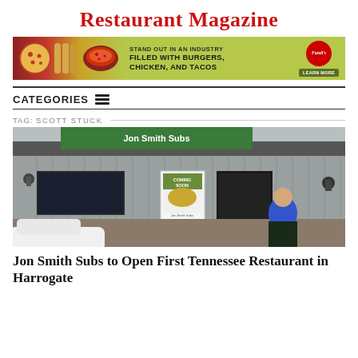Restaurant Magazine
[Figure (photo): Advertisement banner for Fazoli's restaurant: food images on left (pizza, bread), green background with text 'Stand out in an industry filled with burgers, chicken, and tacos', Fazoli's logo, and a 'Learn More' button]
CATEGORIES ☰
TAG: SCOTT STUCK
[Figure (photo): Photo of a man in a blue sweater standing in front of a Jon Smith Subs restaurant building with a 'Coming Soon' sign in the window]
Jon Smith Subs to Open First Tennessee Restaurant in Harrogate